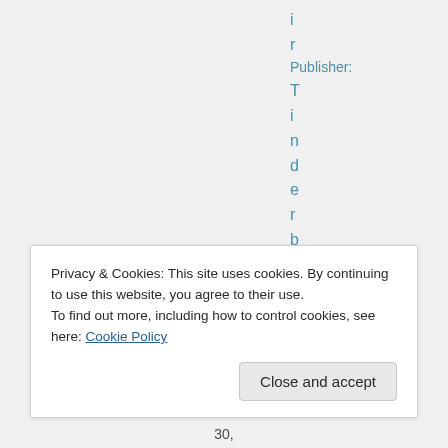i
r
Publisher:
T
i
n
d
e
r
b
o
x
B
Privacy & Cookies: This site uses cookies. By continuing to use this website, you agree to their use.
To find out more, including how to control cookies, see here: Cookie Policy
Close and accept
30,